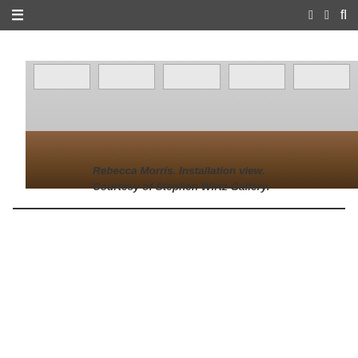Navigation bar with menu icon, Facebook, Twitter, and search icons
[Figure (photo): Installation view of a gallery space with white walls, several framed artworks hung in a row, and a warm wooden floor. The room is lit from above.]
Rebecca Morris. Installation view. Courtesy of Stephen Wirtz Gallery.
[Figure (photo): A painting with a dark brown, reddish-brown and near-black surface, displayed on a light grey/off-white background/wall. The painting surface has subtle texture and color variation.]